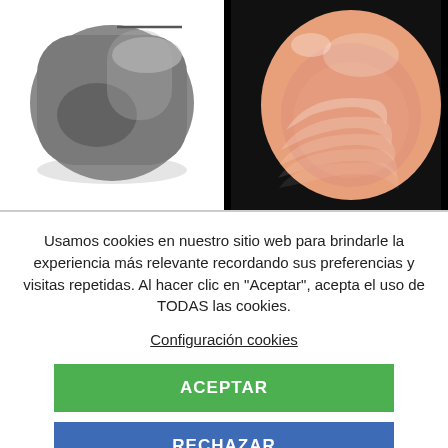[Figure (photo): Left: polished dark gray/silver metalite stone on white background. Right: polished pink/orange banded agate stone on black background.]
Usamos cookies en nuestro sitio web para brindarle la experiencia más relevante recordando sus preferencias y visitas repetidas. Al hacer clic en "Aceptar", acepta el uso de TODAS las cookies.
Configuración cookies
ACEPTAR
RECHAZAR